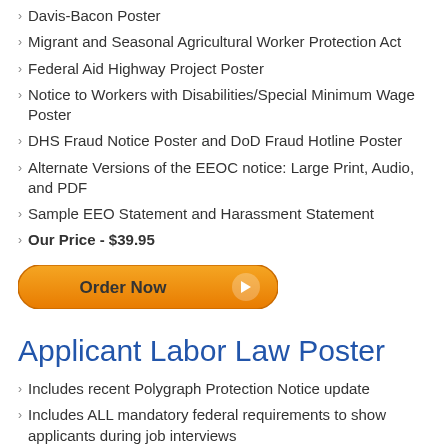Davis-Bacon Poster
Migrant and Seasonal Agricultural Worker Protection Act
Federal Aid Highway Project Poster
Notice to Workers with Disabilities/Special Minimum Wage Poster
DHS Fraud Notice Poster and DoD Fraud Hotline Poster
Alternate Versions of the EEOC notice: Large Print, Audio, and PDF
Sample EEO Statement and Harassment Statement
Our Price - $39.95
[Figure (other): Orange Order Now button with right-pointing arrow]
Applicant Labor Law Poster
Includes recent Polygraph Protection Notice update
Includes ALL mandatory federal requirements to show applicants during job interviews
Single poster available in English or Spanish